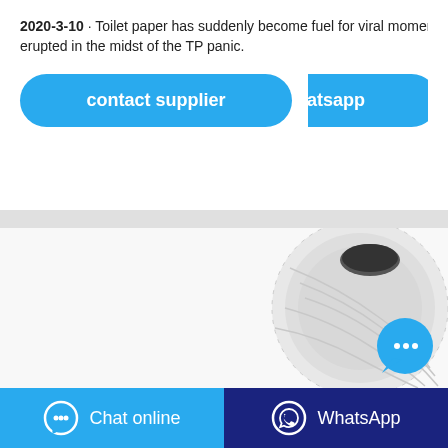2020-3-10 · Toilet paper has suddenly become fuel for viral moments erupted in the midst of the TP panic.
[Figure (infographic): Two blue rounded buttons: 'contact supplier' and 'Whatsapp']
[Figure (photo): Toilet paper roll on white background with a blue chat bubble floating button overlay]
[Figure (infographic): Footer bar with two buttons: 'Chat online' (light blue) and 'WhatsApp' (dark blue)]